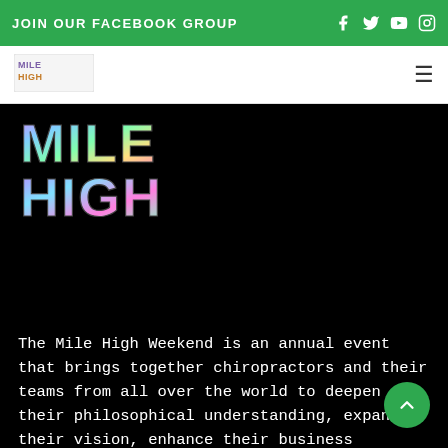JOIN OUR FACEBOOK GROUP
[Figure (logo): Mile High logo in the navigation bar - small version]
[Figure (logo): Mile High large colorful holographic logo on black background]
The Mile High Weekend is an annual event that brings together chiropractors and their teams from all over the world to deepen their philosophical understanding, expand their vision, enhance their business strategies and train their team.